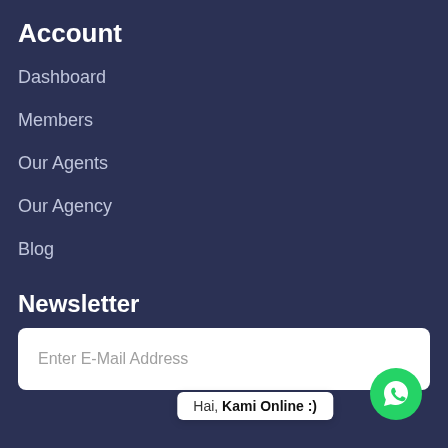Account
Dashboard
Members
Our Agents
Our Agency
Blog
Newsletter
Enter E-Mail Address
Hai, Kami Online :)
Subscribe